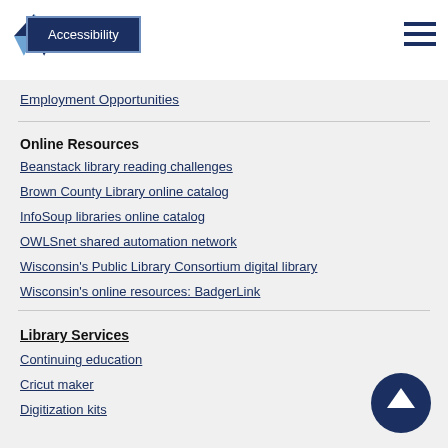Accessibility
Employment Opportunities
Online Resources
Beanstack library reading challenges
Brown County Library online catalog
InfoSoup libraries online catalog
OWLSnet shared automation network
Wisconsin's Public Library Consortium digital library
Wisconsin's online resources: BadgerLink
Library Services
Continuing education
Cricut maker
Digitization kits